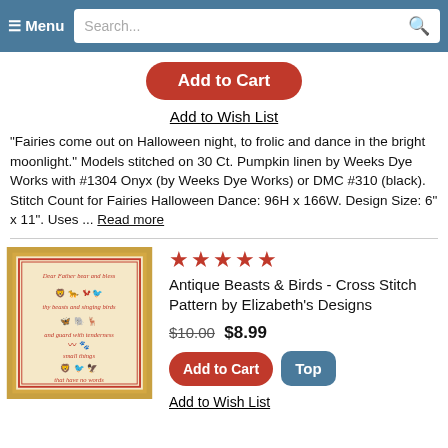≡ Menu  Search...
Add to Cart
Add to Wish List
"Fairies come out on Halloween night, to frolic and dance in the bright moonlight." Models stitched on 30 Ct. Pumpkin linen by Weeks Dye Works with #1304 Onyx (by Weeks Dye Works) or DMC #310 (black). Stitch Count for Fairies Halloween Dance: 96H x 166W. Design Size: 6" x 11". Uses ... Read more
[Figure (illustration): Cross stitch sampler with text 'Dear Father bear and bless thy beasts and singing birds and guard with tenderness small things that have no words' surrounded by animal silhouettes in red on cream fabric, framed in gold.]
★★★★★
Antique Beasts & Birds - Cross Stitch Pattern by Elizabeth's Designs
$10.00  $8.99
Add to Cart
Top
Add to Wish List